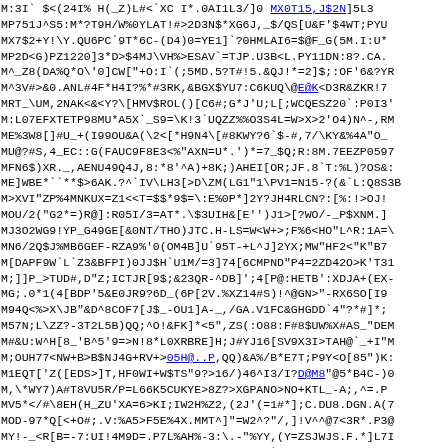M:3I` $<(24I% H(_Z)L#<`XC I*.0AI1L3/]0 MX0T15,J$2N]5L3Q
MP751J^S5:M*?T9H/W%0YLAT!#>2D3N$*XG6J,_$/QS[U&F'$4WT;PYU
MX7$2+Y!\Y.QU6PC`9T*6C-(D4)0=YE1]`?0HMLAI6=$@F_G(5M.I:U*
MP2D<G)PZ1220]3*D>$4MJ\VH%>ESAV`=TJP.U3B<L.PY11DN:8?.CA.
M^_Z8(DA%Q*O\'0]CW["+O:I`(;5MD.5?T#!5.&QJ!*=2]$;:OF'6&?YR
M^3V#>&0.ANL#4F*H4I?%*#3RK,&BGX$YU7:C6KUQ\@E@K<D3R&ZKR!7
MRT_\UM,2NAK<&<Y?\[HMV$ROL()[C6#;G*J'U;L[;WCQESZ20`:P0I3'
M:L07EFXTETP98MU*A5X`_S9=\K!3`UQZZ%%O3S4L=W>X>2'O4)N^-,RM
ME%3W8[]#U_+(I99OU&A(\2<[*H9N4\[#8KWY?6`$-#,7/\KY&%4A"O_
MU@?#S,4_EC::G(FAUC9F8E3<%"AXN=U*.')\*=7_$Q;R:8M.7EEZP0597
MFN6$)XR._,AENU49Q4J,8:*8'^A)+8K;)AHEI[OR;JF.8`T:%L)?OS&:
ME]WBE*``**$>6AK.?^`IV\LH3[>D\ZM(LG1"1\PV1=N15-?(&`L:Q8S3B
M>XVI"ZP%4MNKUX=Z1<<T=$$*9$=\:E%0P*]2Y?JH4RLCN?:[%:!>OJ!
MOU/2("G2*=)R@]:R05I/3=AT*.\$3UIH&[E'')J1>[?WO/-_P$XNM.]
MJ3O2WG9!YP_G49GE[&0NT/THO)JTC.H-LS=W<W+>;F%6<HO"L^R:1A=\
MN6/2Q$J%MB6GEF-RZA9%'0(OM4B]U`95T-+L^J]2YX;MW"HF2<"K"B7
M[DAPF9W`L`Z3&BFPI)0JJ$H`U1M/=3]74[6CMPND"P4=2ZD42O>K'T31
M;]]P_>TUD#,D"Z;ICTJR[9$;&23QR-^DB]';4[P@:HETB':XDJA+(EX-
MG;.0*1(4[BDP'5&E0JR9?6D_(6P[2V.%XZ14#S)!^@GN>"-RX6SO[I9
M94Q<%>X\JB"&D^8COF7[J$_-OU1]A-_,/GA.V1FC&GHGDD`4"?*#]*;
M57N;L\ZZ?-3T2L5B)QQ;^O!&FK]*<5",ZS(:O88:F#8$UW%X#AS_"DEM
M#&U:W^H[8_'B^5'9=>N!8*L0XRBRE]H;J#YJ16[SV9X3I>TAH@`_+I"M
M;OUH77<NW+B>B$NJ4G+RV+>05H@..P,QQ)&A%/B*E7T;P9Y<O[85")K:
M1EQT['Z([EDS>]T,HF0WI+W$TS"9?>16/)46^I3/I?D@M8"@5*B4C-)0
M,\*WY7)A#T8VU5R/P=L66K5CUKYE>8Z?>XGPANO>NO+KTL_-A;,^=.P
MV5*</#\8EH(H_ZU'XA=6>KI;IW2H%Z2,(2J'(=1#*];C.DU8.DGN.A(7
MOD-97*Q[<+O#;.V:%A5>F5E%4X.MMT^]"=W2^?"/,]!V^^@7<3R*.P3@
MY!-_<R[B=-7:UI!4M9D=.P7L%AH%-3:\.-"%YY,(Y=ZSJWJS.F.*]L7I
M;J&/B%E%:.@>F@G>]\N_W];EQ6)8@:-^,"*IV/`O,O"L6I>>7_":N^X
M,$2GS@$T>3;7N$P2L3N&.8%<-JK\-B3&'4$6+3#NCGF<:0(\-#PRQ_Q